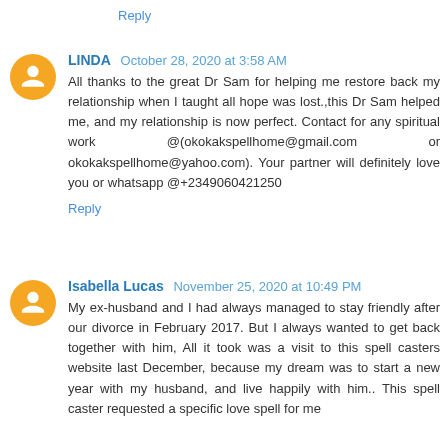Reply
LINDA  October 28, 2020 at 3:58 AM
All thanks to the great Dr Sam for helping me restore back my relationship when I taught all hope was lost.,this Dr Sam helped me, and my relationship is now perfect. Contact for any spiritual work @(okokakspellhome@gmail.com or okokakspellhome@yahoo.com). Your partner will definitely love you or whatsapp @+2349060421250
Reply
Isabella Lucas  November 25, 2020 at 10:49 PM
My ex-husband and I had always managed to stay friendly after our divorce in February 2017. But I always wanted to get back together with him, All it took was a visit to this spell casters website last December, because my dream was to start a new year with my husband, and live happily with him.. This spell caster requested a specific love spell for me